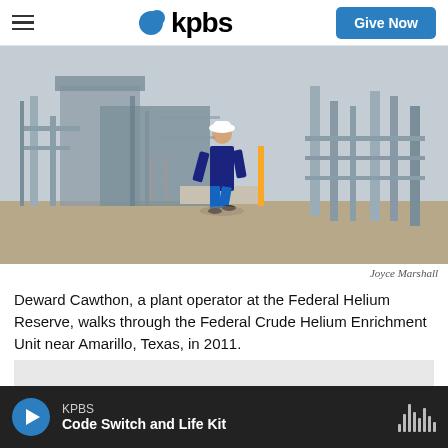kpbs | Give Now
[Figure (photo): A plant operator wearing a white hard hat and dark clothing walks through an industrial facility with pipes and metal structures — the Federal Crude Helium Enrichment Unit near Amarillo, Texas, photographed in 2011.]
Joyce Marshall
Deward Cawthon, a plant operator at the Federal Helium Reserve, walks through the Federal Crude Helium Enrichment Unit near Amarillo, Texas, in 2011.
[Figure (other): Gray placeholder box]
KPBS
Code Switch and Life Kit